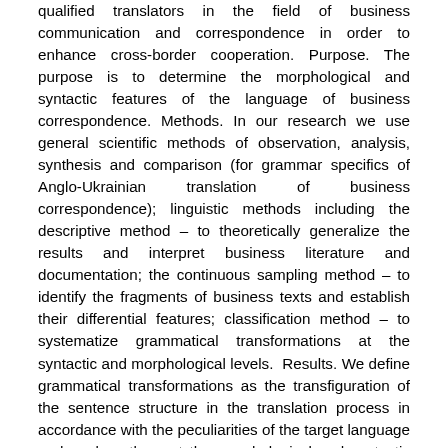qualified translators in the field of business communication and correspondence in order to enhance cross-border cooperation. Purpose. The purpose is to determine the morphological and syntactic features of the language of business correspondence. Methods. In our research we use general scientific methods of observation, analysis, synthesis and comparison (for grammar specifics of Anglo-Ukrainian translation of business correspondence); linguistic methods including the descriptive method – to theoretically generalize the results and interpret business literature and documentation; the continuous sampling method – to identify the fragments of business texts and establish their differential features; classification method – to systematize grammatical transformations at the syntactic and morphological levels.  Results. We define grammatical transformations as the transfiguration of the sentence structure in the translation process in accordance with the peculiarities of the target language and analyze them at the morphological and syntactic levels. When translating business speech texts, the following lexical and grammatical transformations were used: 1) antonymic translation; 2) explication (descriptive translation); 3) compensation. Discussion. Translators working on the text of the business letter must consider all the differences of languages and use the translation transformations when translating the missing